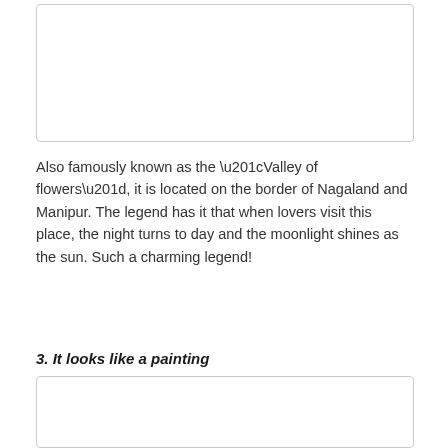[Figure (photo): Image placeholder box at top of page (partially visible cropped photo)]
Also famously known as the “Valley of flowers”, it is located on the border of Nagaland and Manipur. The legend has it that when lovers visit this place, the night turns to day and the moonlight shines as the sun. Such a charming legend!
3. It looks like a painting
[Figure (photo): Image placeholder box at bottom of page (partially visible cropped photo)]